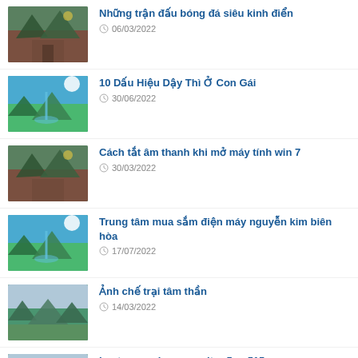Những trận đấu bóng đá siêu kinh điển
10 Dấu Hiệu Dậy Thì Ở Con Gái
Cách tắt âm thanh khi mở máy tính win 7
Trung tâm mua sắm điện máy nguyễn kim biên hòa
Ảnh chế trại tâm thần
Laptop gaming acer nitro 5 an515